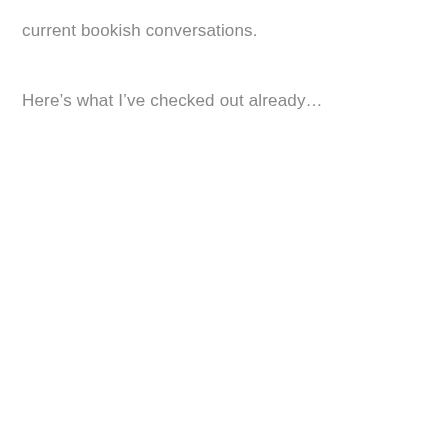current bookish conversations.
Here’s what I’ve checked out already…